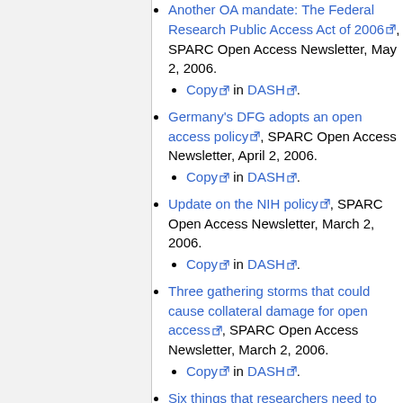Another OA mandate: The Federal Research Public Access Act of 2006 [ext], SPARC Open Access Newsletter, May 2, 2006.
Copy [ext] in DASH [ext].
Germany's DFG adopts an open access policy [ext], SPARC Open Access Newsletter, April 2, 2006.
Copy [ext] in DASH [ext].
Update on the NIH policy [ext], SPARC Open Access Newsletter, March 2, 2006.
Copy [ext] in DASH [ext].
Three gathering storms that could cause collateral damage for open access [ext], SPARC Open Access Newsletter, March 2, 2006.
Copy [ext] in DASH [ext].
Six things that researchers need to